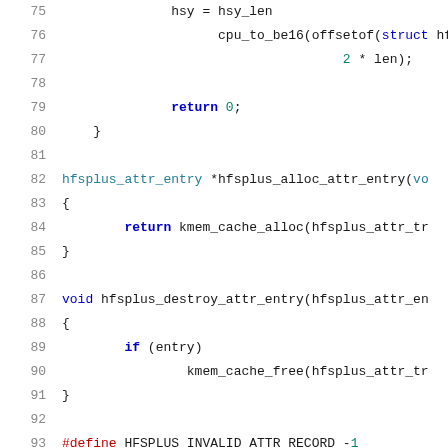[Figure (screenshot): Source code listing in C showing lines 75-96 of an HFS+ filesystem driver. Code includes functions hfsplus_alloc_attr_entry, hfsplus_destroy_attr_entry, a #define for HFSPLUS_INVALID_ATTR_RECORD, and the beginning of hfsplus_attr_build_record. Syntax highlighting with blue keywords, teal types, green numbers.]